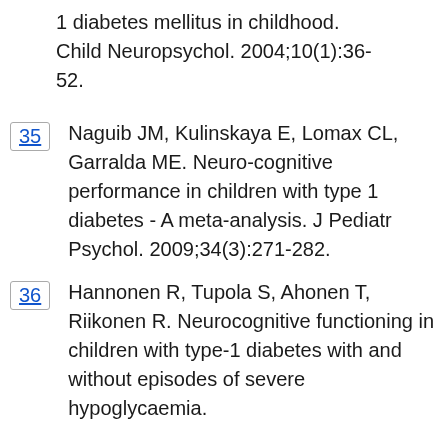1 diabetes mellitus in childhood. Child Neuropsychol. 2004;10(1):36-52.
35 Naguib JM, Kulinskaya E, Lomax CL, Garralda ME. Neuro-cognitive performance in children with type 1 diabetes - A meta-analysis. J Pediatr Psychol. 2009;34(3):271-282.
36 Hannonen R, Tupola S, Ahonen T, Riikonen R. Neurocognitive functioning in children with type-1 diabetes with and without episodes of severe hypoglycaemia.